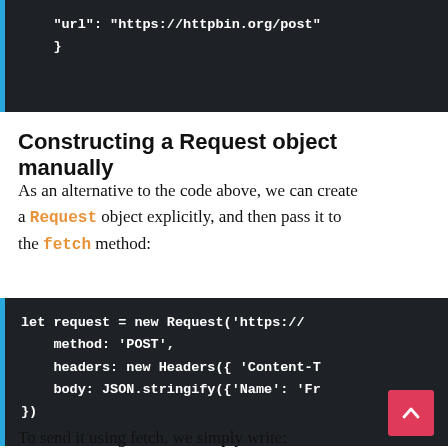[Figure (screenshot): Code block showing end of JSON object: "url": "https://httpbin.org/post" followed by closing brace }]
Constructing a Request object manually
As an alternative to the code above, we can create a Request object explicitly, and then pass it to the fetch method:
[Figure (screenshot): Code block showing: let request = new Request('https://... method: 'POST', headers: new Headers({ 'Content-T... body: JSON.stringify({'Name': 'Fr... })]
To send it using fetch, we simply write: